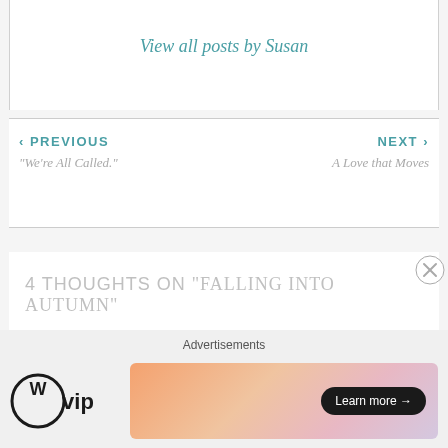View all posts by Susan
« PREVIOUS
"We're All Called."
NEXT »
A Love that Moves
4 thoughts on "Falling into Autumn"
PAUSEstudio
OCTOBER 8, 2015 AT 6:14 AM
Advertisements